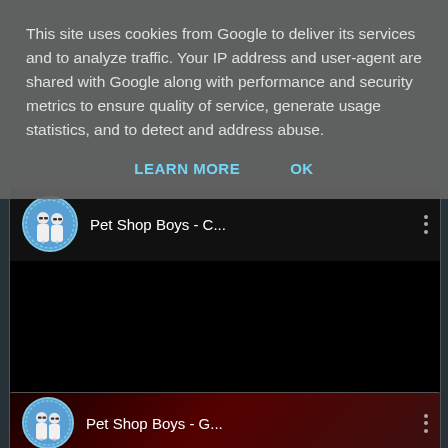This site uses cookies from Google to deliver its services and to analyze traffic. Your IP address and user-agent are shared with Google along with performance and security metrics to ensure quality of service, generate usage statistics, and to detect and address abuse.
LEARN MORE    OK
[Figure (screenshot): YouTube video player card showing 'Pet Shop Boys - C...' with circular avatar of two figures in white and a three-dot menu icon, black video body area]
[Figure (screenshot): YouTube video player card (partially visible) showing 'Pet Shop Boys - G...' with circular avatar and dark reddish thumbnail background]